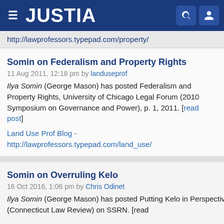JUSTIA
http://lawprofessors.typepad.com/property/
Somin on Federalism and Property Rights
11 Aug 2011, 12:18 pm by landuseprof
Ilya Somin (George Mason) has posted Federalism and Property Rights, University of Chicago Legal Forum (2010 Symposium on Governance and Power), p. 1, 2011. [read post]
Land Use Prof Blog - http://lawprofessors.typepad.com/land_use/
Somin on Overruling Kelo
16 Oct 2016, 1:06 pm by Chris Odinet
Ilya Somin (George Mason) has posted Putting Kelo in Perspective (Connecticut Law Review) on SSRN. [read